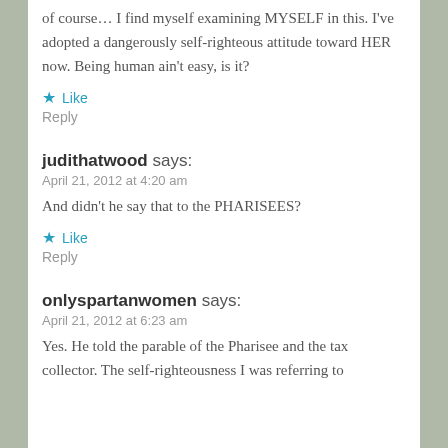of course… I find myself examining MYSELF in this. I've adopted a dangerously self-righteous attitude toward HER now. Being human ain't easy, is it?
★ Like
Reply
judithatwood says:
April 21, 2012 at 4:20 am
And didn't he say that to the PHARISEES?
★ Like
Reply
onlyspartanwomen says:
April 21, 2012 at 6:23 am
Yes. He told the parable of the Pharisee and the tax collector. The self-righteousness I was referring to